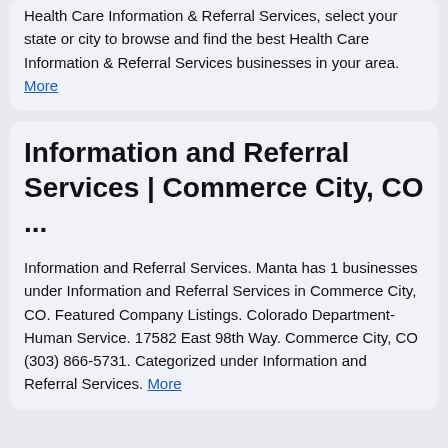Health Care Information & Referral Services, select your state or city to browse and find the best Health Care Information & Referral Services businesses in your area. More
Information and Referral Services | Commerce City, CO ...
Information and Referral Services. Manta has 1 businesses under Information and Referral Services in Commerce City, CO. Featured Company Listings. Colorado Department-Human Service. 17582 East 98th Way. Commerce City, CO (303) 866-5731. Categorized under Information and Referral Services. More